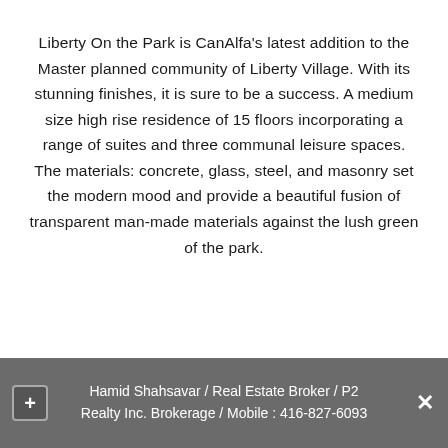Liberty On the Park is CanAlfa's latest addition to the Master planned community of Liberty Village. With its stunning finishes, it is sure to be a success. A medium size high rise residence of 15 floors incorporating a range of suites and three communal leisure spaces. The materials: concrete, glass, steel, and masonry set the modern mood and provide a beautiful fusion of transparent man-made materials against the lush green of the park.
Hamid Shahsavar / Real Estate Broker / P2 Realty Inc. Brokerage / Mobile : 416-827-6093